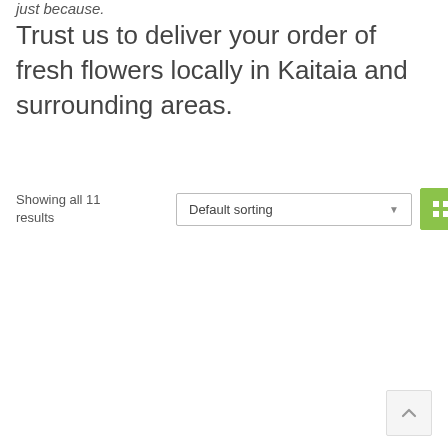just because.
Trust us to deliver your order of fresh flowers locally in Kaitaia and surrounding areas.
Showing all 11 results
[Figure (screenshot): Default sorting dropdown select box with up/down arrow, grid view button (active, green), and list view button]
[Figure (other): Back to top button with upward chevron arrow]